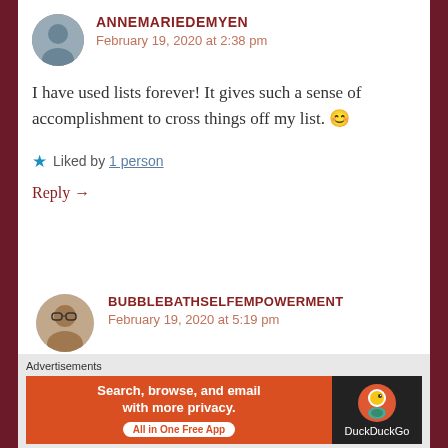ANNEMARIEDEMYEN
February 19, 2020 at 2:38 pm
I have used lists forever! It gives such a sense of accomplishment to cross things off my list. 😊
Liked by 1 person
Reply →
BUBBLEBATHSELFEMPOWERMENT
February 19, 2020 at 5:19 pm
Advertisements
[Figure (screenshot): DuckDuckGo advertisement banner: orange background with text 'Search, browse, and email with more privacy. All in One Free App' and DuckDuckGo logo on dark background]